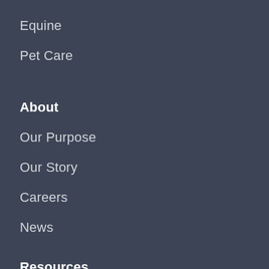Equine
Pet Care
About
Our Purpose
Our Story
Careers
News
Resources
Resources